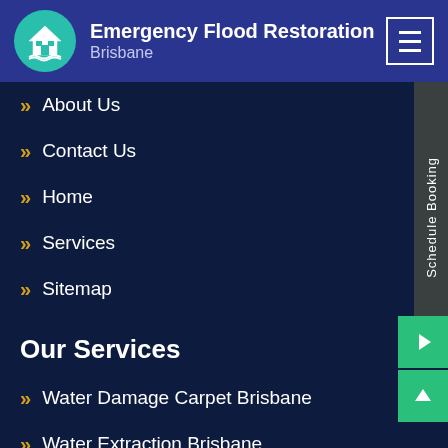Emergency Flood Restoration Brisbane
About Us
Contact Us
Home
Services
Sitemap
Our Services
Water Damage Carpet Brisbane
Water Extraction Brisbane
Sewage Cleanup Brisbane